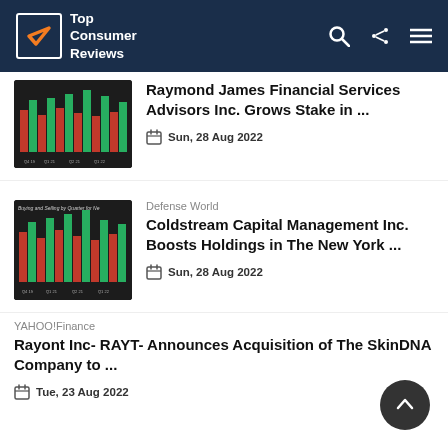Top Consumer Reviews
[Figure (screenshot): Bar chart thumbnail showing buying and selling by quarter]
Raymond James Financial Services Advisors Inc. Grows Stake in ...
Sun, 28 Aug 2022
[Figure (screenshot): Bar chart thumbnail showing buying and selling by quarter for New]
Defense World
Coldstream Capital Management Inc. Boosts Holdings in The New York ...
Sun, 28 Aug 2022
YAHOO!Finance
Rayont Inc- RAYT- Announces Acquisition of The SkinDNA Company to ...
Tue, 23 Aug 2022